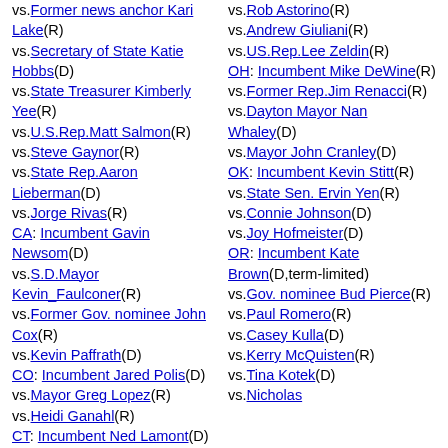vs.Former news anchor Kari Lake(R) vs.Secretary of State Katie Hobbs(D) vs.State Treasurer Kimberly Yee(R) vs.U.S.Rep.Matt Salmon(R) vs.Steve Gaynor(R) vs.State Rep.Aaron Lieberman(D) vs.Jorge Rivas(R) CA: Incumbent Gavin Newsom(D) vs.S.D.Mayor Kevin_Faulconer(R) vs.Former Gov. nominee John Cox(R) vs.Kevin Paffrath(D) CO: Incumbent Jared Polis(D) vs.Mayor Greg Lopez(R) vs.Heidi Ganahl(R) CT: Incumbent Ned Lamont(D) vs.Bob Stefanowski(? R) FL: Incumbent Ron DeSantis(R) vs.Former
vs.Rob Astorino(R) vs.Andrew Giuliani(R) vs.US.Rep.Lee Zeldin(R) OH: Incumbent Mike DeWine(R) vs.Former Rep.Jim Renacci(R) vs.Dayton Mayor Nan Whaley(D) vs.Mayor John Cranley(D) OK: Incumbent Kevin Stitt(R) vs.State Sen. Ervin Yen(R) vs.Connie Johnson(D) vs.Joy Hofmeister(D) OR: Incumbent Kate Brown(D,term-limited) vs.Gov. nominee Bud Pierce(R) vs.Paul Romero(R) vs.Casey Kulla(D) vs.Kerry McQuisten(R) vs.Tina Kotek(D) vs.Nicholas